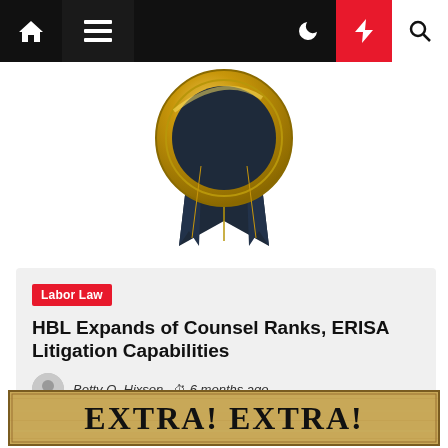[Figure (screenshot): Website navigation bar with home icon, hamburger menu, moon icon, lightning bolt (red background), and search icon on dark background]
[Figure (illustration): Gold and navy award ribbon/seal badge centered on white background]
Labor Law
HBL Expands of Counsel Ranks, ERISA Litigation Capabilities
Betty Q. Hixson  6 months ago
[Figure (illustration): Newspaper-style banner reading EXTRA! EXTRA! in large serif font on aged parchment/newspaper background]